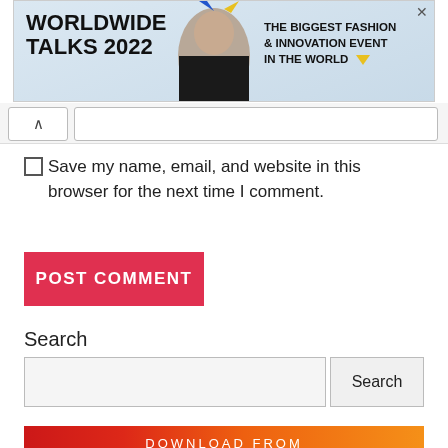[Figure (screenshot): Worldwide Talks 2022 advertisement banner with fashion model and text 'THE BIGGEST FASHION & INNOVATION EVENT IN THE WORLD']
[Figure (screenshot): Collapse/navigation bar with up-arrow button and text input field]
Save my name, email, and website in this browser for the next time I comment.
[Figure (screenshot): POST COMMENT red button]
Search
[Figure (screenshot): Search input box with Search button]
[Figure (screenshot): Entloaded.com promotional banner with logo text 'DOWNLOAD FROM WWW.ENTLOADED.COM' and ENTLOADED logo]